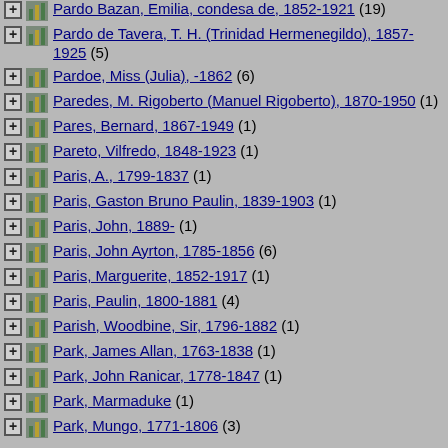Pardo Bazan, Emilia, condesa de, 1852-1921 (19)
Pardo de Tavera, T. H. (Trinidad Hermenegildo), 1857-1925 (5)
Pardoe, Miss (Julia), -1862 (6)
Paredes, M. Rigoberto (Manuel Rigoberto), 1870-1950 (1)
Pares, Bernard, 1867-1949 (1)
Pareto, Vilfredo, 1848-1923 (1)
Paris, A., 1799-1837 (1)
Paris, Gaston Bruno Paulin, 1839-1903 (1)
Paris, John, 1889- (1)
Paris, John Ayrton, 1785-1856 (6)
Paris, Marguerite, 1852-1917 (1)
Paris, Paulin, 1800-1881 (4)
Parish, Woodbine, Sir, 1796-1882 (1)
Park, James Allan, 1763-1838 (1)
Park, John Ranicar, 1778-1847 (1)
Park, Marmaduke (1)
Park, Mungo, 1771-1806 (3)